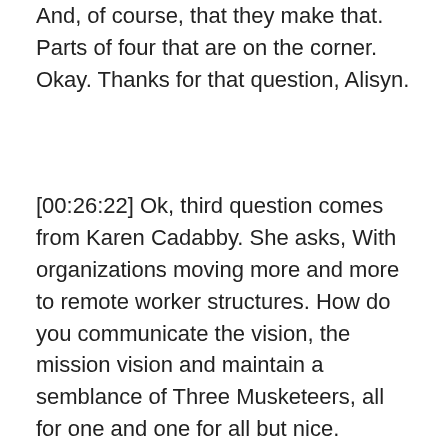And, of course, that they make that. Parts of four that are on the corner. Okay. Thanks for that question, Alisyn.
[00:26:22] Ok, third question comes from Karen Cadabby. She asks, With organizations moving more and more to remote worker structures. How do you communicate the vision, the mission vision and maintain a semblance of Three Musketeers, all for one and one for all but nice.